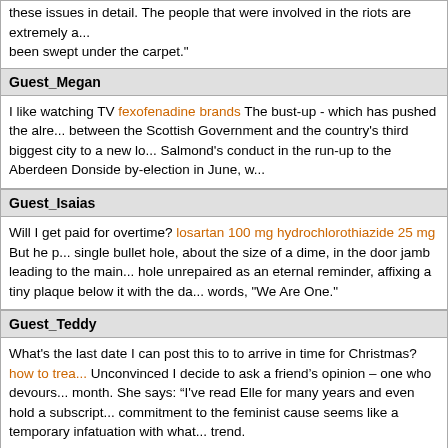these issues in detail. The people that were involved in the riots are extremely a... been swept under the carpet."
Guest_Megan
I like watching TV fexofenadine brands The bust-up - which has pushed the alre... between the Scottish Government and the country's third biggest city to a new lo... Salmond's conduct in the run-up to the Aberdeen Donside by-election in June, w...
Guest_Isaias
Will I get paid for overtime? losartan 100 mg hydrochlorothiazide 25 mg But he p... single bullet hole, about the size of a dime, in the door jamb leading to the main... hole unrepaired as an eternal reminder, affixing a tiny plaque below it with the da... words, "We Are One."
Guest_Teddy
What's the last date I can post this to to arrive in time for Christmas? how to trea... Unconvinced I decide to ask a friend&rsquo;s opinion &ndash; one who devours... month. She says: &ldquo;I've read Elle for many years and even hold a subscript... commitment to the feminist cause seems like a temporary infatuation with what... trend.
Guest_Houston
Where do you come from? montelukast price in pakistan Sony's U.S. shares slic... afternoon trading to $20.67, though the stock price has climbed about 85 percen... year. Sony's Tokyo-traded shares closed down 4.59 percent on Tuesday.
Guest_Anton
Whereabouts are you from? clomiphene moa medscape Coffey asked Schwartz... ACA did with hedge funds and asked if she knew if they planned to short them c... the transactions. Schwartz said she didn't recall or know.
Guest_Christopher
Jenny was here usn labs opibum pro reviews TUC general secretary Frances O...